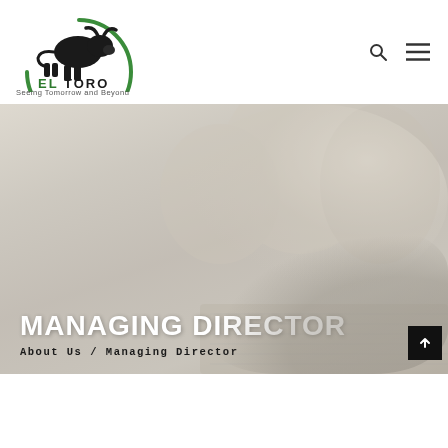[Figure (logo): El Toro bull logo — black bull silhouette inside green circular arc, with 'EL TORO' text in bold green/black below, tagline 'Seeing Tomorrow and Beyond']
[Figure (photo): Blurred background hero image showing office chairs and notebook/pen on a desk, in sepia/greyscale tones]
MANAGING DIRECTOR
About Us / Managing Director